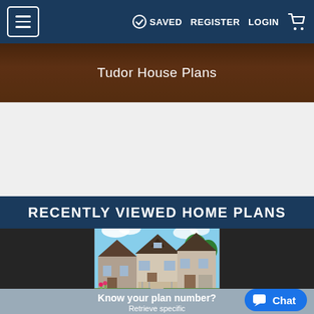≡   SAVED  REGISTER  LOGIN  🛒
[Figure (photo): Tudor House Plans banner image showing a house with dark brick exterior]
Tudor House Plans
RECENTLY VIEWED HOME PLANS
[Figure (photo): Rendering of multiple two-story homes with Victorian/Tudor style architecture, light beige exteriors, front porches, and landscaping]
Know your plan number?
Retrieve specific